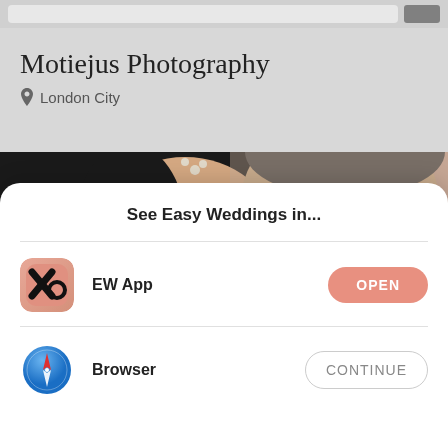Motiejus Photography
London City
[Figure (photo): Close-up photo of a bride and groom with eyes closed, touching foreheads. Bride has dark hair with floral accessory, wearing earrings. Groom has short hair and stubble.]
See Easy Weddings in...
EW App
OPEN
Browser
CONTINUE